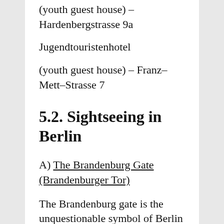(youth guest house) – Hardenbergstrasse 9a
Jugendtouristenhotel
(youth guest house) – Franz–Mett–Strasse 7
5.2. Sightseeing in Berlin
A) The Brandenburg Gate (Brandenburger Tor)
The Brandenburg gate is the unquestionable symbol of Berlin and is now regarded as one of the greatest symbols of